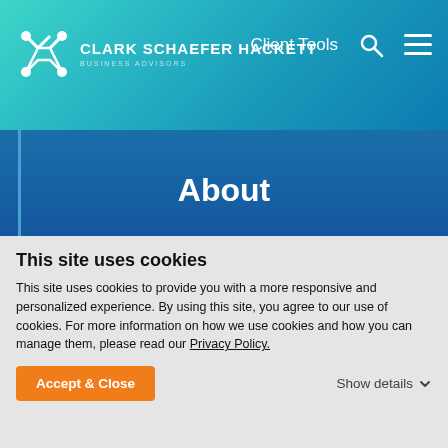CLARK SCHAEFER HACKETT BUSINESS ADVISORS | Client Tools
About
© Copyright Clark Schaefer Hackett 2022
This site uses cookies
This site uses cookies to provide you with a more responsive and personalized experience. By using this site, you agree to our use of cookies. For more information on how we use cookies and how you can manage them, please read our Privacy Policy.
Accept & Close
Show details